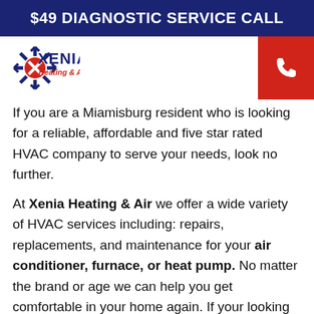$49 DIAGNOSTIC SERVICE CALL
[Figure (logo): Xenia Heating & Air logo with snowflake and X emblem in blue and red, with company name]
If you are a Miamisburg resident who is looking for a reliable, affordable and five star rated HVAC company to serve your needs, look no further.
At Xenia Heating & Air we offer a wide variety of HVAC services including: repairs, replacements, and maintenance for your air conditioner, furnace, or heat pump. No matter the brand or age we can help you get comfortable in your home again. If your looking to improve your homes indoor air quality we also offer a wide range of add-on